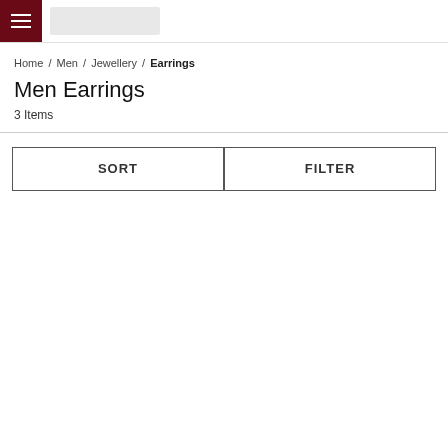Menu icon and logo placeholder
Home / Men / Jewellery / Earrings
Men Earrings
3 Items
SORT
FILTER